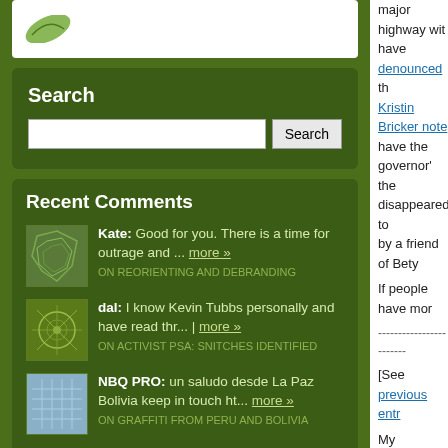[Figure (illustration): Green leaf logo on white background box]
Search
[Figure (screenshot): Search input box with Search button]
Recent Comments
Kate: Good for you. There is a time for outrage and ... more » ON REORIENTING AND DEBRANDING
dal: I know Kevin Tubbs personally and have read thr... | more » ON ACTIVIST PSA: SNITCHES IDENTIFIED
NBQ PRO: un saludo desde La Paz Bolivia keep in touch ht... more » ON GRAFFITI FROM PERU AND BOLIVIA
major highway with... have denounced th... Kristin Bricker note... have the governor'... the disappeared to... by a friend of Bety...
If people have mor...
------------------------
[See previous entry...
My translation of th... the two reporters fr... was the press vehi... They also mention... bring the disappea...
-------------
Oaxaca: Paramilit...
Oaxaca de Juárez, April 27, 2010
To the media